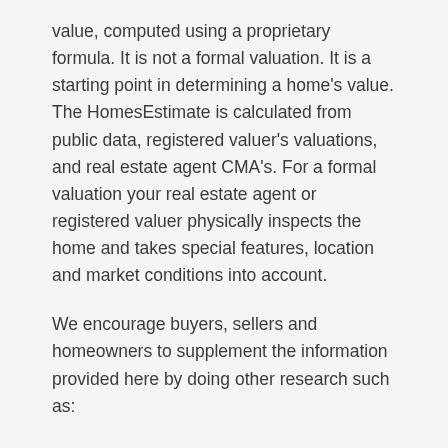value, computed using a proprietary formula. It is not a formal valuation. It is a starting point in determining a home's value. The HomesEstimate is calculated from public data, registered valuer's valuations, and real estate agent CMA's. For a formal valuation your real estate agent or registered valuer physically inspects the home and takes special features, location and market conditions into account.
We encourage buyers, sellers and homeowners to supplement the information provided here by doing other research such as:
Getting a comparative market analysis (CMA) from a real estate agent
Getting a formal valuation report from a professional property valuator